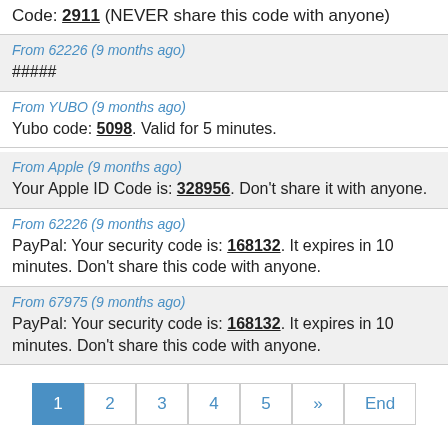Code: 2911 (NEVER share this code with anyone)
From 62226 (9 months ago)
#####
From YUBO (9 months ago)
Yubo code: 5098. Valid for 5 minutes.
From Apple (9 months ago)
Your Apple ID Code is: 328956. Don't share it with anyone.
From 62226 (9 months ago)
PayPal: Your security code is: 168132. It expires in 10 minutes. Don't share this code with anyone.
From 67975 (9 months ago)
PayPal: Your security code is: 168132. It expires in 10 minutes. Don't share this code with anyone.
1 2 3 4 5 » End